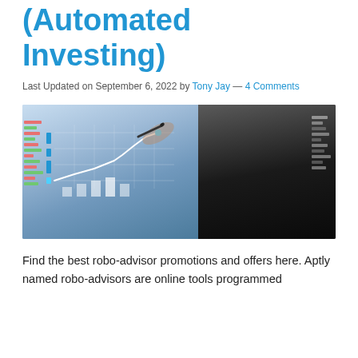(Automated Investing)
Last Updated on September 6, 2022 by Tony Jay — 4 Comments
[Figure (photo): Businessman in dark suit drawing on a transparent digital screen showing a rising line chart and bar chart, with stock ticker data in background]
Find the best robo-advisor promotions and offers here. Aptly named robo-advisors are online tools programmed